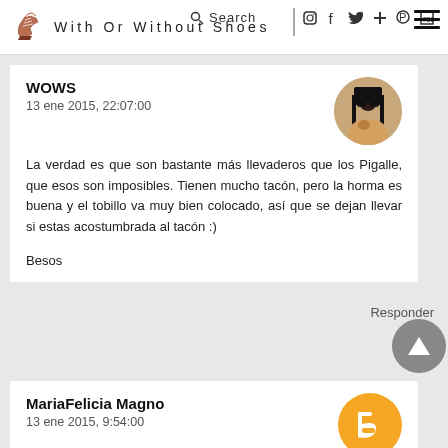With Or Without Shoes
WOWS
13 ene 2015, 22:07:00
La verdad es que son bastante más llevaderos que los Pigalle, que esos son imposibles. Tienen mucho tacón, pero la horma es buena y el tobillo va muy bien colocado, así que se dejan llevar si estas acostumbrada al tacón :)

Besos
Responder
MariaFelicia Magno
13 ene 2015, 9:54:00
i love these shoes...the color is fab